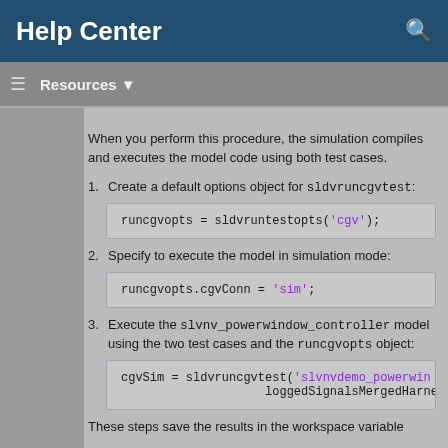Help Center
Resources ▼
When you perform this procedure, the simulation compiles and executes the model code using both test cases.
1. Create a default options object for sldvruncgvtest:
runcgvopts = sldvruntestopts('cgv');
2. Specify to execute the model in simulation mode:
runcgvopts.cgvConn = 'sim';
3. Execute the slvnv_powerwindow_controller model using the two test cases and the runcgvopts object:
cgvSim = sldvruncgvtest('slvnvdemo_powerwin
                    loggedSignalsMergedHarness, runcgvo
These steps save the results in the workspace variable